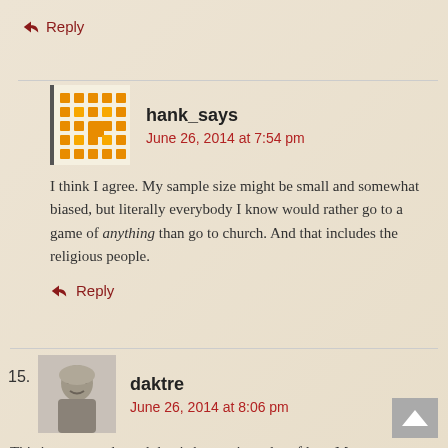↳ Reply
hank_says
June 26, 2014 at 7:54 pm
I think I agree. My sample size might be small and somewhat biased, but literally everybody I know would rather go to a game of anything than go to church. And that includes the religious people.
↳ Reply
15. daktre
June 26, 2014 at 8:06 pm
This is a very sad trend that is happening a lot of late. Many